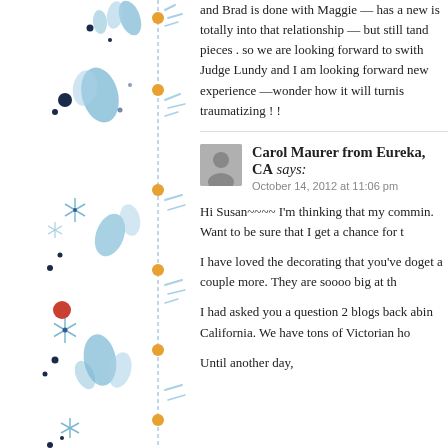and Brad is done with Maggie — has a new... is totally into that relationship — but still t... and pieces . so we are looking forward to s... with Judge Lundy and I am looking forward... new experience —wonder how it will turn... is traumatizing ! !
[Figure (illustration): Decorative left sidebar with blue floral/botanical watercolor illustrations, orange dots, and decorative vertical line elements on white background]
Carol Maurer from Eureka, CA says:
October 14, 2012 at 11:06 pm
Hi Susan~~~~ I'm thinking that my comm... in. Want to be sure that I get a chance for t...
I have loved the decorating that you've do... get a couple more. They are soooo big at th...
I had asked you a question 2 blogs back ab... in California. We have tons of Victorian ho...
Until another day,